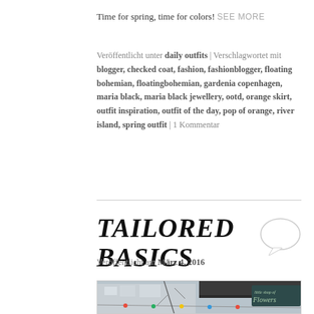Time for spring, time for colors! SEE MORE
Veröffentlicht unter daily outfits | Verschlagwortet mit blogger, checked coat, fashion, fashionblogger, floating bohemian, floatingbohemian, gardenia copenhagen, maria black, maria black jewellery, ootd, orange skirt, outfit inspiration, outfit of the day, pop of orange, river island, spring outfit | 1 Kommentar
TAILORED BASICS
Veröffentlicht am März 4, 2016
[Figure (photo): Street photo showing a storefront with a 'little shop of Flowers' sign, colorful string lights, bare winter trees, and urban buildings in the background.]